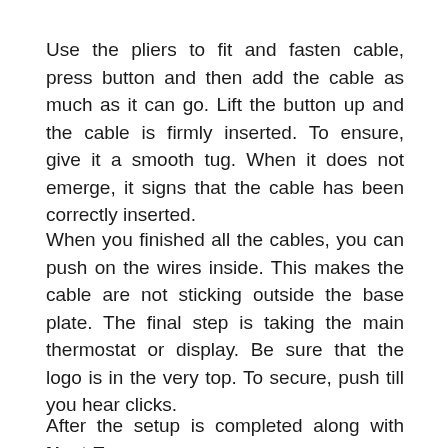Use the pliers to fit and fasten cable, press button and then add the cable as much as it can go. Lift the button up and the cable is firmly inserted. To ensure, give it a smooth tug. When it does not emerge, it signs that the cable has been correctly inserted.
When you finished all the cables, you can push on the wires inside. This makes the cable are not sticking outside the base plate. The final step is taking the main thermostat or display. Be sure that the logo is in the very top. To secure, push till you hear clicks.
After the setup is completed along with Nest E